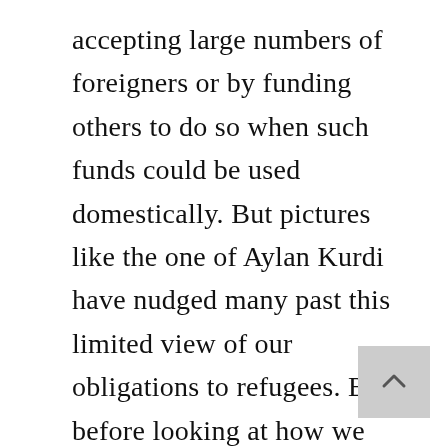accepting large numbers of foreigners or by funding others to do so when such funds could be used domestically. But pictures like the one of Aylan Kurdi have nudged many past this limited view of our obligations to refugees. But before looking at how we should in fact think of our moral obligations, let's take a step back and examine how we arrived at the current consensus around refugee aid.